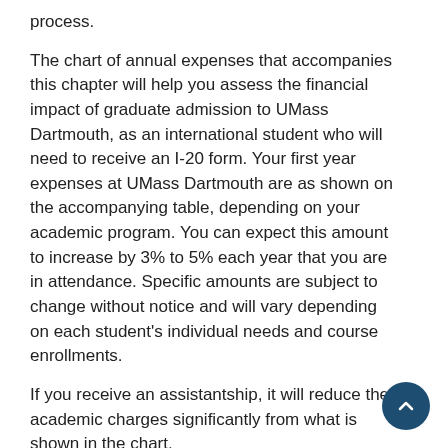process.
The chart of annual expenses that accompanies this chapter will help you assess the financial impact of graduate admission to UMass Dartmouth, as an international student who will need to receive an I-20 form. Your first year expenses at UMass Dartmouth are as shown on the accompanying table, depending on your academic program. You can expect this amount to increase by 3% to 5% each year that you are in attendance. Specific amounts are subject to change without notice and will vary depending on each student's individual needs and course enrollments.
If you receive an assistantship, it will reduce the academic charges significantly from what is shown in the chart.
Annual Expenses Estimated, 2009-2010